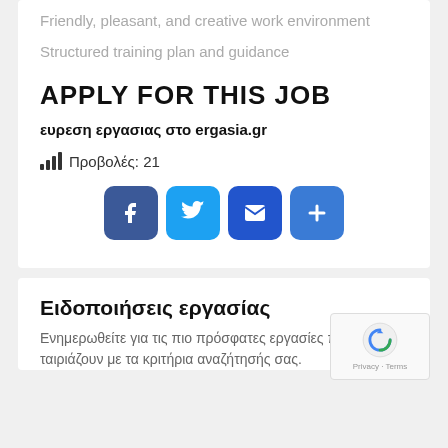Friendly, pleasant, and creative work environment
Structured training plan and guidance
APPLY FOR THIS JOB
ευρεση εργασιας στο ergasia.gr
Προβολές: 21
[Figure (other): Social sharing buttons: Facebook, Twitter, Email, More]
Ειδοποιήσεις εργασίας
Ενημερωθείτε για τις πιο πρόσφατες εργασίες που ταιριάζουν με τα κριτήρια αναζήτησής σας.